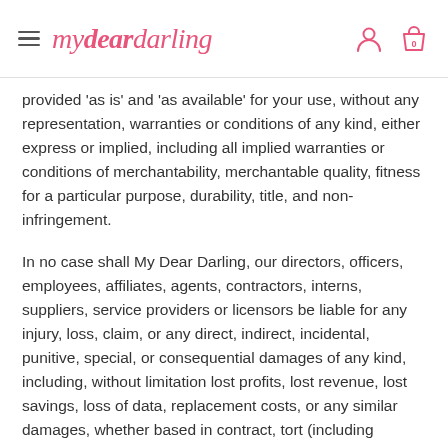mydeardarling
provided 'as is' and 'as available' for your use, without any representation, warranties or conditions of any kind, either express or implied, including all implied warranties or conditions of merchantability, merchantable quality, fitness for a particular purpose, durability, title, and non-infringement.
In no case shall My Dear Darling, our directors, officers, employees, affiliates, agents, contractors, interns, suppliers, service providers or licensors be liable for any injury, loss, claim, or any direct, indirect, incidental, punitive, special, or consequential damages of any kind, including, without limitation lost profits, lost revenue, lost savings, loss of data, replacement costs, or any similar damages, whether based in contract, tort (including negligence), strict liability or otherwise, arising from your use of any of